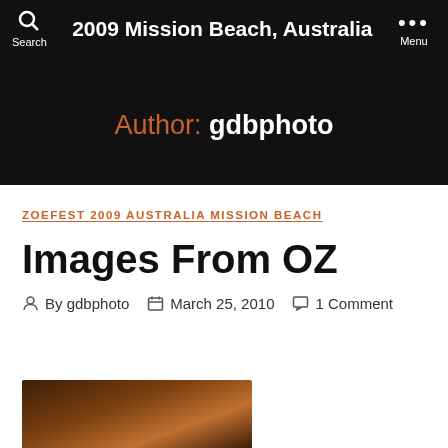2009 Mission Beach, Australia
Author: gdbphoto
ZOEFEST 2009 AUSTRALIA MISSION BEACH
Images From OZ
By gdbphoto   March 25, 2010   1 Comment
[Figure (photo): Partial thumbnail of a photo at the bottom of the page, dark brownish tones]